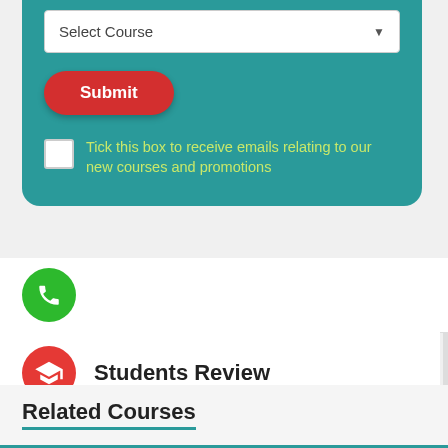[Figure (screenshot): Select Course dropdown input box with white background and dropdown arrow]
[Figure (screenshot): Red rounded Submit button]
Tick this box to receive emails relating to our new courses and promotions
[Figure (screenshot): Green circle with phone/call icon]
Students Review
Related Courses